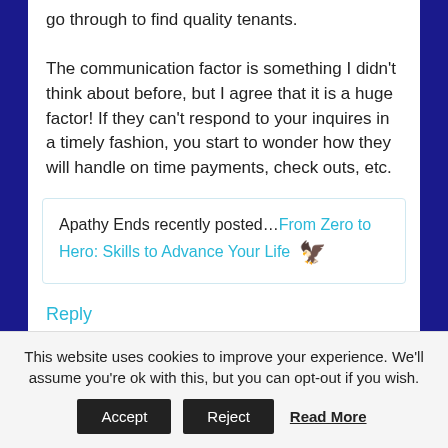go through to find quality tenants. The communication factor is something I didn't think about before, but I agree that it is a huge factor! If they can't respond to your inquires in a timely fashion, you start to wonder how they will handle on time payments, check outs, etc.
Apathy Ends recently posted…From Zero to Hero: Skills to Advance Your Life 🦅
Reply
Make Smarter Decisions says
This website uses cookies to improve your experience. We'll assume you're ok with this, but you can opt-out if you wish.